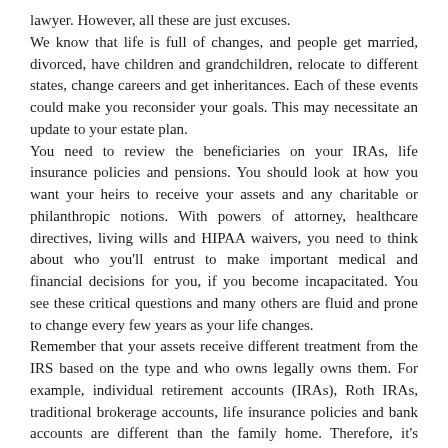lawyer. However, all these are just excuses.
We know that life is full of changes, and people get married, divorced, have children and grandchildren, relocate to different states, change careers and get inheritances. Each of these events could make you reconsider your goals. This may necessitate an update to your estate plan.
You need to review the beneficiaries on your IRAs, life insurance policies and pensions. You should look at how you want your heirs to receive your assets and any charitable or philanthropic notions. With powers of attorney, healthcare directives, living wills and HIPAA waivers, you need to think about who you'll entrust to make important medical and financial decisions for you, if you become incapacitated. You see these critical questions and many others are fluid and prone to change every few years as your life changes.
Remember that your assets receive different treatment from the IRS based on the type and who owns legally owns them. For example, individual retirement accounts (IRAs), Roth IRAs, traditional brokerage accounts, life insurance policies and bank accounts are different than the family home. Therefore, it's important to be mindful of which assets are left to whom.
Don't wait. Speak to an experienced estate planning attorney to be certain that you give this process the attention it deserves for the well-